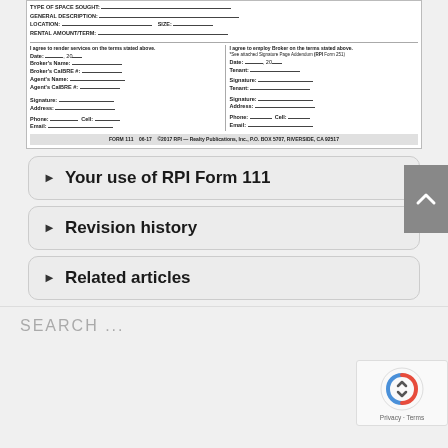[Figure (screenshot): Partial view of RPI Form 111, a real estate broker/tenant agreement form showing type of space sought, general description, location, size, rental amount/term fields, and signature blocks for both broker and tenant sides, with copyright notice FORM 111 06-17 ©2017 RPI — Realty Publications, Inc., P.O. BOX 5707, RIVERSIDE, CA 92517]
▶  Your use of RPI Form 111
▶  Revision history
▶  Related articles
SEARCH ...
[Figure (logo): reCAPTCHA badge with Google reCAPTCHA logo and Privacy - Terms text]